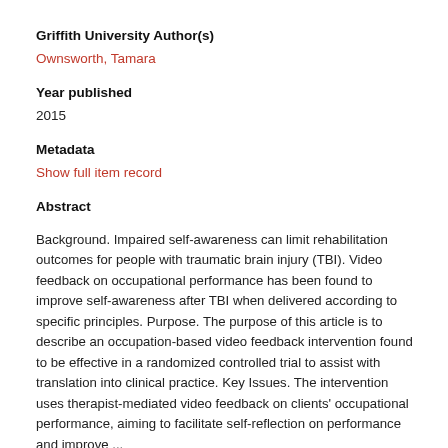Griffith University Author(s)
Ownsworth, Tamara
Year published
2015
Metadata
Show full item record
Abstract
Background. Impaired self-awareness can limit rehabilitation outcomes for people with traumatic brain injury (TBI). Video feedback on occupational performance has been found to improve self-awareness after TBI when delivered according to specific principles. Purpose. The purpose of this article is to describe an occupation-based video feedback intervention found to be effective in a randomized controlled trial to assist with translation into clinical practice. Key Issues. The intervention uses therapist-mediated video feedback on clients' occupational performance, aiming to facilitate self-reflection on performance and improve ...
View more >